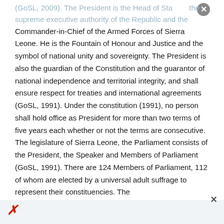(GoSL, 2009). The President is the Head of State, the supreme executive authority of the Republic and the Commander-in-Chief of the Armed Forces of Sierra Leone. He is the Fountain of Honour and Justice and the symbol of national unity and sovereignty. The President is also the guardian of the Constitution and the guarantor of national independence and territorial integrity, and shall ensure respect for treaties and international agreements (GoSL, 1991). Under the constitution (1991), no person shall hold office as President for more than two terms of five years each whether or not the terms are consecutive. The legislature of Sierra Leone, the Parliament consists of the President, the Speaker and Members of Parliament (GoSL, 1991). There are 124 Members of Parliament, 112 of whom are elected by a universal adult suffrage to represent their constituencies. The